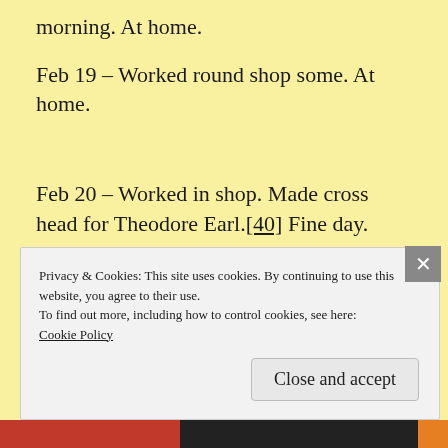morning. At home.
Feb 19 – Worked round shop some. At home.
Feb 20 – Worked in shop. Made cross head for Theodore Earl.[40] Fine day.
Privacy & Cookies: This site uses cookies. By continuing to use this website, you agree to their use.
To find out more, including how to control cookies, see here:
Cookie Policy
Close and accept